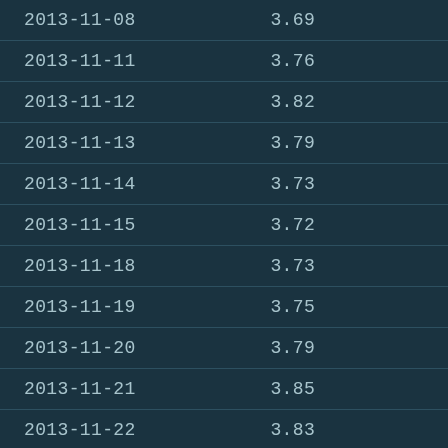| 2013-11-08 | 3.69 |
| 2013-11-11 | 3.76 |
| 2013-11-12 | 3.82 |
| 2013-11-13 | 3.79 |
| 2013-11-14 | 3.73 |
| 2013-11-15 | 3.72 |
| 2013-11-18 | 3.73 |
| 2013-11-19 | 3.75 |
| 2013-11-20 | 3.79 |
| 2013-11-21 | 3.85 |
| 2013-11-22 | 3.83 |